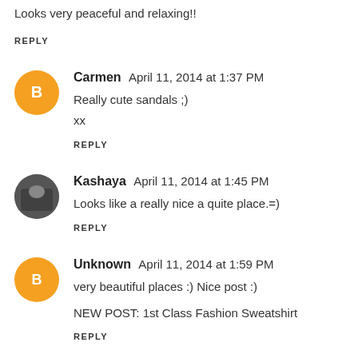Looks very peaceful and relaxing!!
REPLY
Carmen  April 11, 2014 at 1:37 PM
Really cute sandals ;)
xx
REPLY
Kashaya  April 11, 2014 at 1:45 PM
Looks like a really nice a quite place.=)
REPLY
Unknown  April 11, 2014 at 1:59 PM
very beautiful places :) Nice post :)
NEW POST: 1st Class Fashion Sweatshirt
REPLY